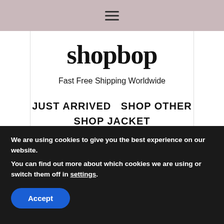≡ (hamburger menu icon)
shopbop
Fast Free Shipping Worldwide
JUST ARRIVED   SHOP OTHER
SHOP JACKET
[Figure (photo): Woman with long brown hair smiling, photographed outdoors against a background of wooden structures and blue sky]
We are using cookies to give you the best experience on our website.
You can find out more about which cookies we are using or switch them off in settings.
Accept